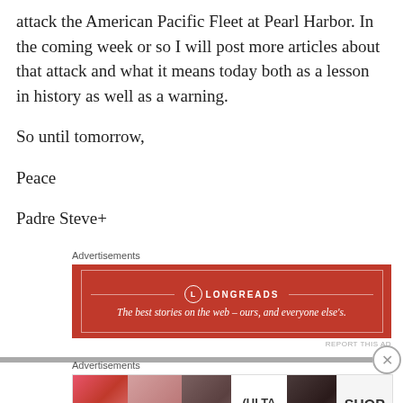attack the American Pacific Fleet at Pearl Harbor. In the coming week or so I will post more articles about that attack and what it means today both as a lesson in history as well as a warning.
So until tomorrow,
Peace
Padre Steve+
Advertisements
[Figure (other): Longreads advertisement banner: red background with white border, Longreads logo and tagline 'The best stories on the web – ours, and everyone else's.']
REPORT THIS AD
Advertisements
[Figure (other): Ulta Beauty cosmetics advertisement showing close-up photos of lips, makeup brushes, eye makeup, Ulta Beauty logo, eye makeup again, and 'SHOP NOW' button.]
REPORT THIS AD